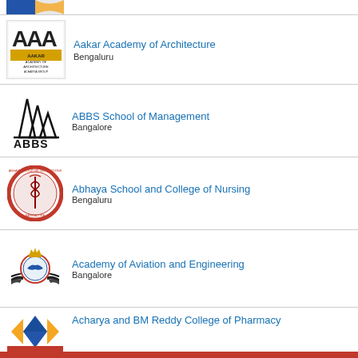[Figure (logo): Partial logo visible at top (cropped)]
Aakar Academy of Architecture, Bengaluru
ABBS School of Management, Bangalore
Abhaya School and College of Nursing, Bengaluru
Academy of Aviation and Engineering, Bangalore
Acharya and BM Reddy College of Pharmacy, Bangaluru (partial)